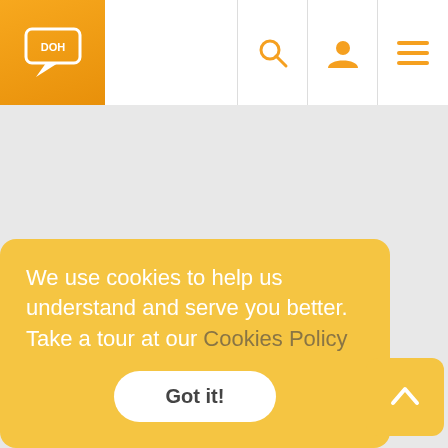[Figure (screenshot): Website navigation bar with orange logo (DOH speech bubble icon), search bar with orange underline, and orange icons for search, user profile, and hamburger menu]
[Figure (screenshot): Gray empty main content area of a website]
We use cookies to help us understand and serve you better. Take a tour at our Cookies Policy
Got it!